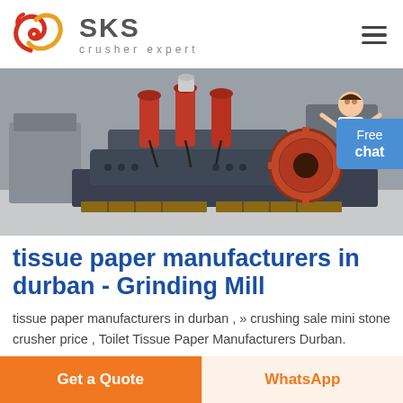SKS crusher expert
[Figure (photo): Industrial grinding mill / crusher machine in a factory setting. Large dark grey metal machine body with orange-red cylindrical components on top, sitting on wooden pallets on a concrete floor. A large gear/flywheel is visible on the right side. A woman in white is visible in the top right corner. A blue 'Free chat' button overlays the top right.]
tissue paper manufacturers in durban - Grinding Mill
tissue paper manufacturers in durban , » crushing sale mini stone crusher price , Toilet Tissue Paper Manufacturers Durban.
Get a Quote | WhatsApp